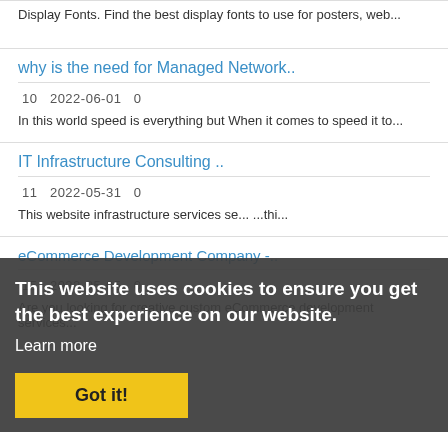Display Fonts. Find the best display fonts to use for posters, web...
why is the need for Managed Network..
10   2022-06-01   0
In this world speed is everything but When it comes to speed it to...
IT Infrastructure Consulting ..
11   2022-05-31   0
This website uses cookies to ensure you get the best experience on our website.
Learn more
eCommerce Development Company -..
15   2022-05-05   0
Got it!
Are you looking for creative custom eCommerce development services...